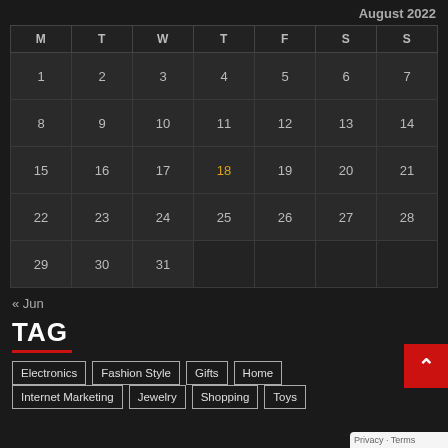August 2022
| M | T | W | T | F | S | S |
| --- | --- | --- | --- | --- | --- | --- |
| 1 | 2 | 3 | 4 | 5 | 6 | 7 |
| 8 | 9 | 10 | 11 | 12 | 13 | 14 |
| 15 | 16 | 17 | 18 | 19 | 20 | 21 |
| 22 | 23 | 24 | 25 | 26 | 27 | 28 |
| 29 | 30 | 31 |  |  |  |  |
« Jun
TAG
Electronics
Fashion Style
Gifts
Home
Internet Marketing
Jewelry
Shopping
Toys